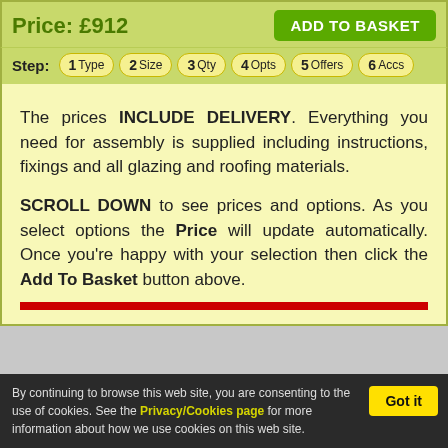Price: £912
ADD TO BASKET
Step: 1 Type  2 Size  3 Qty  4 Opts  5 Offers  6 Accs
The prices INCLUDE DELIVERY. Everything you need for assembly is supplied including instructions, fixings and all glazing and roofing materials.
SCROLL DOWN to see prices and options. As you select options the Price will update automatically. Once you're happy with your selection then click the Add To Basket button above.
By continuing to browse this web site, you are consenting to the use of cookies. See the Privacy/Cookies page for more information about how we use cookies on this web site.
Got it